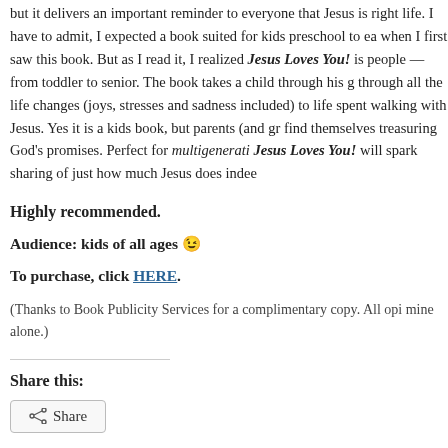but it delivers an important reminder to everyone that Jesus is right life. I have to admit, I expected a book suited for kids preschool to ea when I first saw this book. But as I read it, I realized Jesus Loves You! is people — from toddler to senior. The book takes a child through his g through all the life changes (joys, stresses and sadness included) to life spent walking with Jesus. Yes it is a kids book, but parents (and gr find themselves treasuring God's promises. Perfect for multigenerati Jesus Loves You! will spark sharing of just how much Jesus does indee
Highly recommended.
Audience: kids of all ages 😉
To purchase, click HERE.
(Thanks to Book Publicity Services for a complimentary copy. All opi mine alone.)
Share this:
Share
Like this: